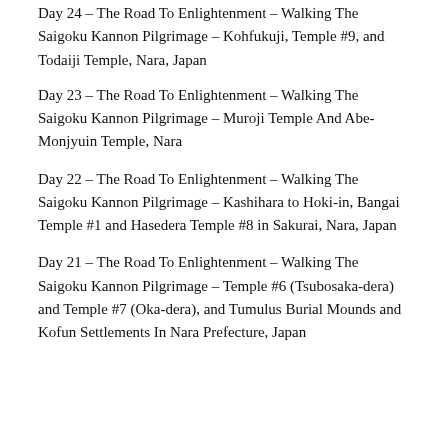Day 24 – The Road To Enlightenment – Walking The Saigoku Kannon Pilgrimage – Kohfukuji, Temple #9, and Todaiji Temple, Nara, Japan
Day 23 – The Road To Enlightenment – Walking The Saigoku Kannon Pilgrimage – Muroji Temple And Abe-Monjyuin Temple, Nara
Day 22 – The Road To Enlightenment – Walking The Saigoku Kannon Pilgrimage – Kashihara to Hoki-in, Bangai Temple #1 and Hasedera Temple #8 in Sakurai, Nara, Japan
Day 21 – The Road To Enlightenment – Walking The Saigoku Kannon Pilgrimage – Temple #6 (Tsubosaka-dera) and Temple #7 (Oka-dera), and Tumulus Burial Mounds and Kofun Settlements In Nara Prefecture, Japan